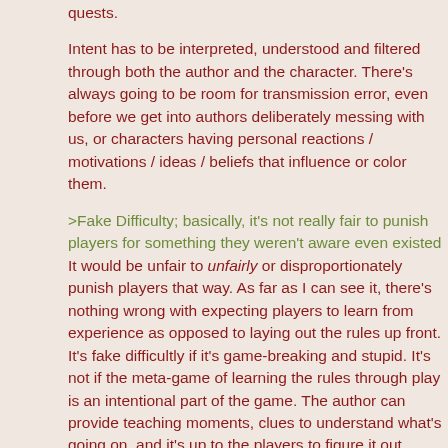quests.
Intent has to be interpreted, understood and filtered through both the author and the character. There's always going to be room for transmission error, even before we get into authors deliberately messing with us, or characters having personal reactions / motivations / ideas / beliefs that influence or color them.
>Fake Difficulty; basically, it's not really fair to punish players for something they weren't aware even existed
It would be unfair to unfairly or disproportionately punish players that way. As far as I can see it, there's nothing wrong with expecting players to learn from experience as opposed to laying out the rules up front. It's fake difficultly if it's game-breaking and stupid. It's not if the meta-game of learning the rules through play is an intentional part of the game. The author can provide teaching moments, clues to understand what's going on, and it's up to the players to figure it out. Before the stakes get too high and the consequences really hurt.
I suppose one can disagree on the merits purely from a game design perspective, but this gets more into what one wants from a game than what choices a game designer can make